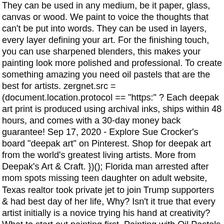They can be used in any medium, be it paper, glass, canvas or wood. We paint to voice the thoughts that can't be put into words. They can be used in layers, every layer defining your art. For the finishing touch, you can use sharpened blenders, this makes your painting look more polished and professional. To create something amazing you need oil pastels that are the best for artists. zergnet.src = (document.location.protocol == "https:" ? Each deepak art print is produced using archival inks, ships within 48 hours, and comes with a 30-day money back guarantee! Sep 17, 2020 - Explore Sue Crocker's board "deepak art" on Pinterest. Shop for deepak art from the world's greatest living artists. More from Deepak's Art & Craft. })(); Florida man arrested after mom spots missing teen daughter on adult website, Texas realtor took private jet to join Trump supporters & had best day of her life, Why? Isn't it true that every artist initially is a novice trying his hand at creativity? What to start out painting first. Painting with Oil Pastels a guide: What are oil pastels, what types to use, how to paint using pastels and thoughts for beginners. Guided Meditation. The Tools and Modules of Digital Marketing: A definitive guide to learning the art of digital marketing for beginners. Then you can start reading Kindle books on your smartphone, tablet, or computer - no Kindle device required. Sweet N Low CEO tycoon, 89, jumps to his death from Park Ave apartment, I have no shame: Texas realtor private plane flying Capitol rioter arrested, Watch: Philadelphia graduate shot dead while walking